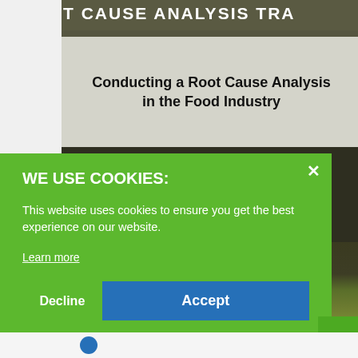[Figure (screenshot): Top partial banner with text 'T CAUSE ANALYSIS TRA' visible, part of a course thumbnail for 'Conducting a Root Cause Analysis in the Food Industry', showing olive/fruit imagery in the lower portion]
Conducting a Root Cause Analysis in the Food Industry
Course Duration: 1 Day (Classroom or Virtual)
WE USE COOKIES:
This website uses cookies to ensure you get the best experience on our website.
Learn more
Decline
Accept